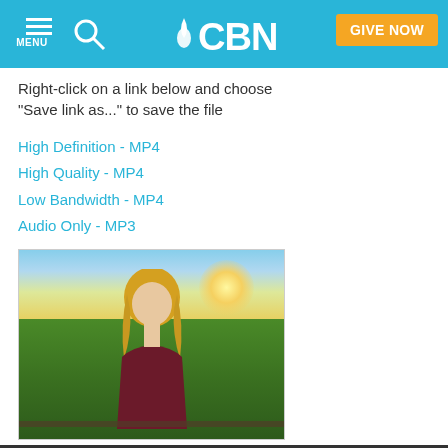CBN — MENU | Search | GIVE NOW
Right-click on a link below and choose "Save link as..." to save the file
High Definition - MP4
High Quality - MP4
Low Bandwidth - MP4
Audio Only - MP3
[Figure (photo): A woman with blonde hair wearing a dark red top, standing outdoors with trees and a bright sunset/sunrise in the background.]
She Will Live! A Little Girl's Mountain